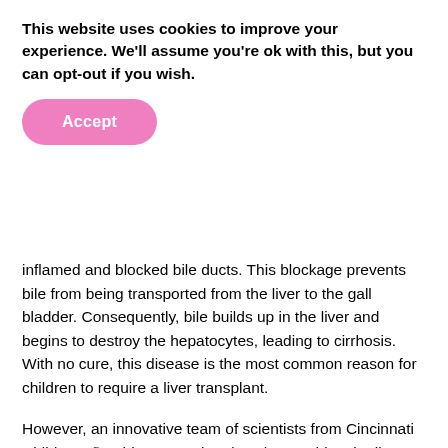This website uses cookies to improve your experience. We'll assume you're ok with this, but you can opt-out if you wish.
[Figure (other): Pink rounded Accept button]
inflamed and blocked bile ducts. This blockage prevents bile from being transported from the liver to the gall bladder. Consequently, bile builds up in the liver and begins to destroy the hepatocytes, leading to cirrhosis. With no cure, this disease is the most common reason for children to require a liver transplant.
However, an innovative team of scientists from Cincinnati Children's®, Ohio, USA, aimed to change this. The liver experts took a unique approach to understand biliary atresia using organoids. Organoids are multicellular tissue that mimics the corresponding organ that, in this instance, was the bile duct. The team developed organoids from liver biopsies and